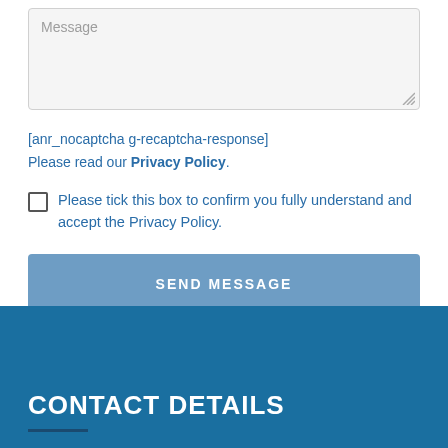[Figure (screenshot): Message textarea input field with light gray background and resize handle]
[anr_nocaptcha g-recaptcha-response]
Please read our Privacy Policy.
Please tick this box to confirm you fully understand and accept the Privacy Policy.
SEND MESSAGE
CONTACT DETAILS